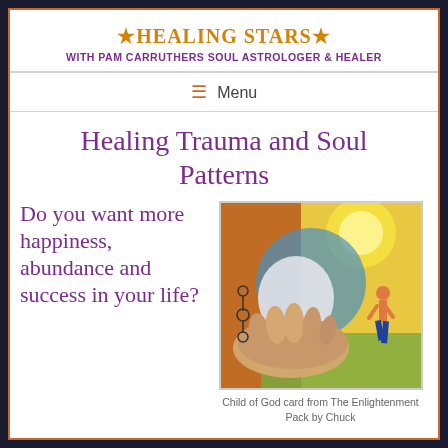★Healing Stars★ with Pam Carruthers Soul Astrologer & Healer
≡  Menu
Healing Trauma and Soul Patterns
Do you want more happiness, abundance and success in your life?
[Figure (illustration): Colorful illustration showing a large hand reaching out to a small human figure walking, with bright yellow, orange, blue and green colors. Spiritual/healing imagery.]
Child of God card from The Enlightenment Pack by Chuck